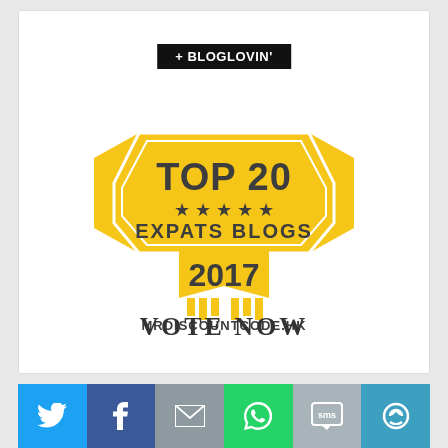[Figure (logo): Bloglovin logo badge - black rectangle with white text '+ BLOGLOVIN'']
[Figure (infographic): Award badge: TOP 20 EXPATS BLOGS 2017 badge in gold/yellow with stars and ribbon design. Bottom text: MRDISCOUNTCODE.HK]
VOTE NOW
[Figure (infographic): Social share bottom bar with Twitter, Facebook, Email, WhatsApp, SMS, and share icons in colored tiles]